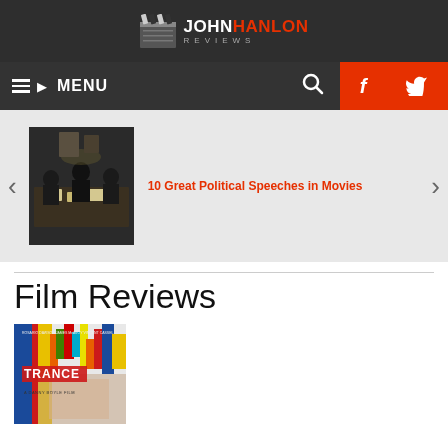JOHN HANLON REVIEWS
MENU
[Figure (screenshot): Slider image showing a scene from a film with people seated at a table in a dark room]
10 Great Political Speeches in Movies
Film Reviews
[Figure (photo): Movie poster for Trance, a Danny Boyle film, with colorful abstract design]